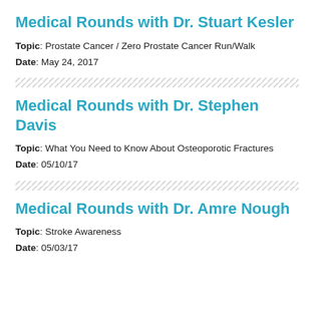Medical Rounds with Dr. Stuart Kesler
Topic: Prostate Cancer / Zero Prostate Cancer Run/Walk
Date: May 24, 2017
Medical Rounds with Dr. Stephen Davis
Topic: What You Need to Know About Osteoporotic Fractures
Date: 05/10/17
Medical Rounds with Dr. Amre Nough
Topic: Stroke Awareness
Date: 05/03/17